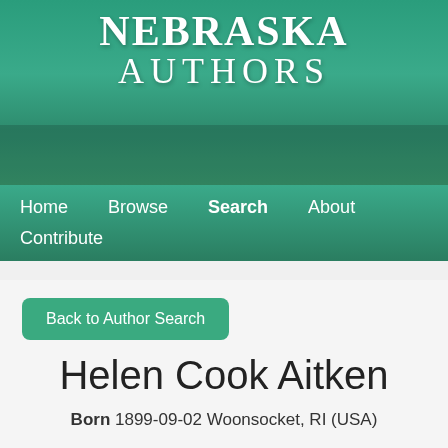[Figure (logo): Nebraska Authors website logo with stylized text on green banner background with plant silhouettes]
Home   Browse   Search   About   Contribute
Back to Author Search
Helen Cook Aitken
Born 1899-09-02 Woonsocket, RI (USA)
Died 1982-05-01 Lincoln, NE (USA)
Buried